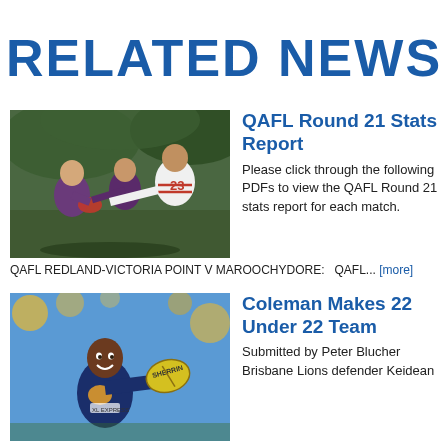RELATED NEWS
[Figure (photo): AFL players competing for the ball, player in white jersey number 23]
QAFL Round 21 Stats Report
Please click through the following PDFs to view the QAFL Round 21 stats report for each match.
QAFL REDLAND-VICTORIA POINT V MAROOCHYDORE:   QAFL... [more]
[Figure (photo): Brisbane Lions player smiling, holding a yellow Sherrin football]
Coleman Makes 22 Under 22 Team
Submitted by Peter Blucher Brisbane Lions defender Keidean